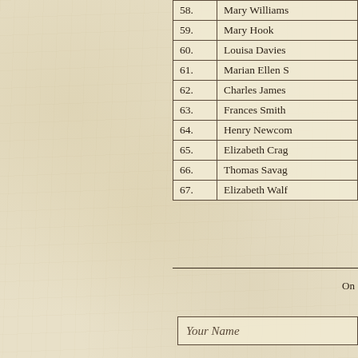| No. | Name |
| --- | --- |
| 58. | Mary Williams |
| 59. | Mary Hook |
| 60. | Louisa Davies |
| 61. | Marian Ellen S |
| 62. | Charles James |
| 63. | Frances Smith |
| 64. | Henry Newcom |
| 65. | Elizabeth Crag |
| 66. | Thomas Savag |
| 67. | Elizabeth Walf |
On
Your Name